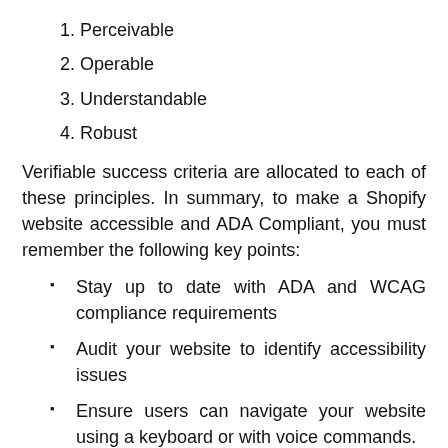1. Perceivable
2. Operable
3. Understandable
4. Robust
Verifiable success criteria are allocated to each of these principles. In summary, to make a Shopify website accessible and ADA Compliant, you must remember the following key points:
Stay up to date with ADA and WCAG compliance requirements
Audit your website to identify accessibility issues
Ensure users can navigate your website using a keyboard or with voice commands.